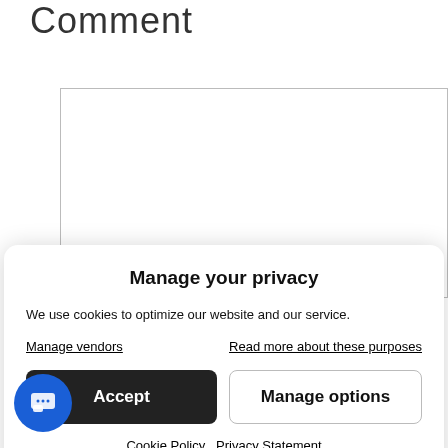Comment
[Figure (other): Empty comment textarea input box with border]
Manage your privacy
We use cookies to optimize our website and our service.
Manage vendors   Read more about these purposes
Accept   Manage options
Cookie Policy   Privacy Statement